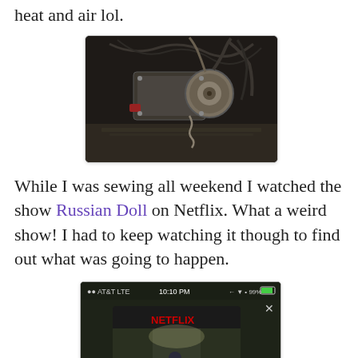heat and air lol.
[Figure (photo): Dark photo of HVAC/heating and air equipment — metal components, wires, and a round fan or motor visible in a cramped mechanical space.]
While I was sewing all weekend I watched the show Russian Doll on Netflix. What a weird show! I had to keep watching it though to find out what was going to happen.
[Figure (screenshot): Screenshot of a smartphone (AT&T LTE, 10:10 PM, 99% battery) showing the Netflix app with the Russian Doll show thumbnail — a woman in a blue coat standing on stairs, with 'NETFLIX' in red at the top and 'RUSSIAN DOLL' text at the bottom of the thumbnail.]